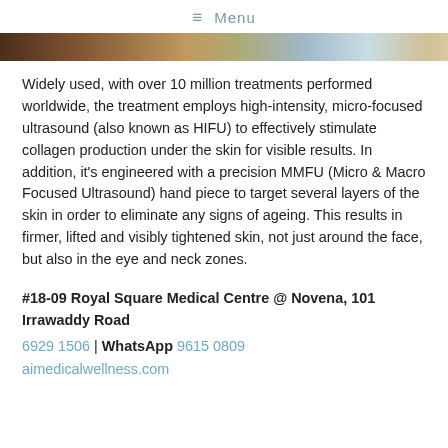≡ Menu
[Figure (photo): Partial photo strip of a person's face/skin, cropped horizontally]
Widely used, with over 10 million treatments performed worldwide, the treatment employs high-intensity, micro-focused ultrasound (also known as HIFU) to effectively stimulate collagen production under the skin for visible results. In addition, it's engineered with a precision MMFU (Micro & Macro Focused Ultrasound) hand piece to target several layers of the skin in order to eliminate any signs of ageing. This results in firmer, lifted and visibly tightened skin, not just around the face, but also in the eye and neck zones.
#18-09 Royal Square Medical Centre @ Novena, 101 Irrawaddy Road
6929 1506 | WhatsApp 9615 0809
aimedicalwellness.com